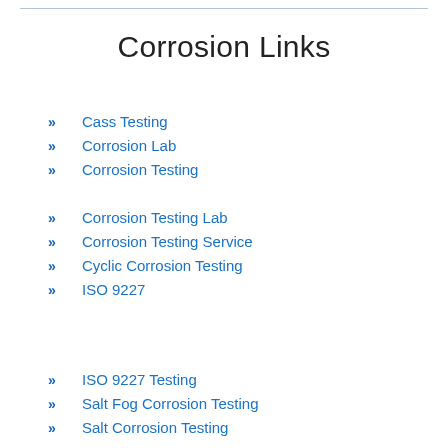Corrosion Links
Cass Testing
Corrosion Lab
Corrosion Testing
Corrosion Testing Lab
Corrosion Testing Service
Cyclic Corrosion Testing
ISO 9227
ISO 9227 Testing
Salt Fog Corrosion Testing
Salt Corrosion Testing